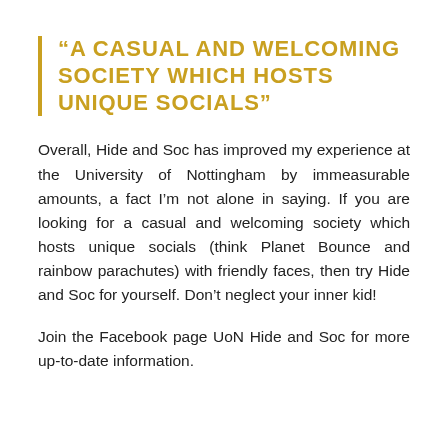“A CASUAL AND WELCOMING SOCIETY WHICH HOSTS UNIQUE SOCIALS”
Overall, Hide and Soc has improved my experience at the University of Nottingham by immeasurable amounts, a fact I’m not alone in saying. If you are looking for a casual and welcoming society which hosts unique socials (think Planet Bounce and rainbow parachutes) with friendly faces, then try Hide and Soc for yourself. Don’t neglect your inner kid!
Join the Facebook page UoN Hide and Soc for more up-to-date information.